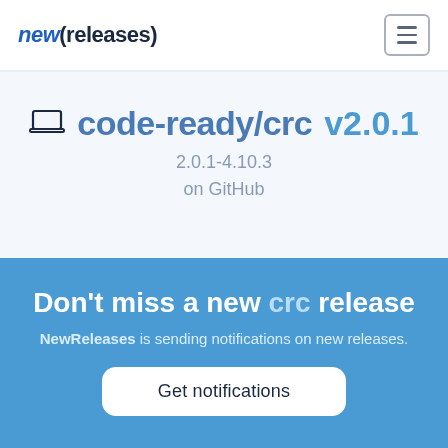new(releases)
code-ready/crc v2.0.1
2.0.1-4.10.3
on GitHub
latest releases: v2.8.0, v2.7.1, v2.7.0...   5 months ago
Downloads are available at:
Don't miss a new crc release
NewReleases is sending notifications on new releases.
Get notifications